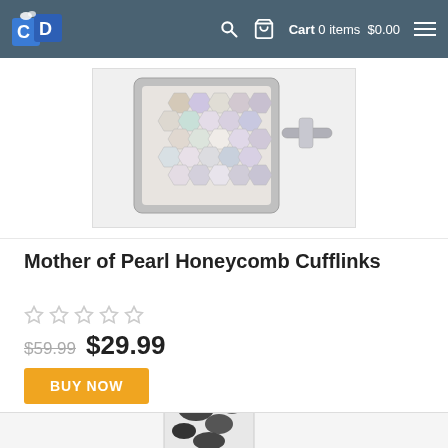CD | Cart 0 items $0.00
[Figure (photo): Mother of Pearl Honeycomb Cufflinks product photo — square silver cufflink with hexagonal mother-of-pearl mosaic inlay, silver toggle closure visible on right side]
Mother of Pearl Honeycomb Cufflinks
★★★★★ (empty stars rating)
$59.99 $29.99
BUY NOW
[Figure (photo): Partially visible product photo at bottom — appears to be a patterned cufflink in black and white]